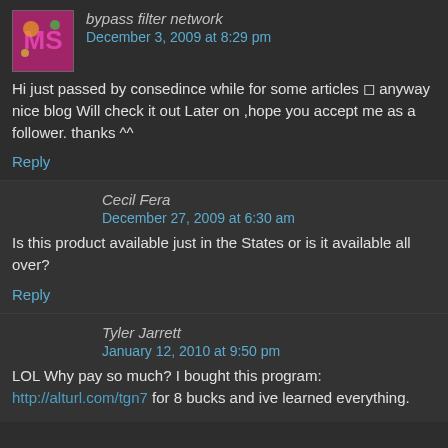bypass filter network says: December 3, 2009 at 8:29 pm
Hi just passed by consedince while for some articles  anyway nice blog Will check it out Later on ,hope you accept me as a follower. thanks ^^
Reply
Cecil Fera says: December 27, 2009 at 6:30 am
Is this product available just in the States or is it available all over?
Reply
Tyler Jarrett says: January 12, 2010 at 9:50 pm
LOL Why pay so much? I bought this program: http://alturl.com/tgn7 for 8 bucks and ive learned everything.